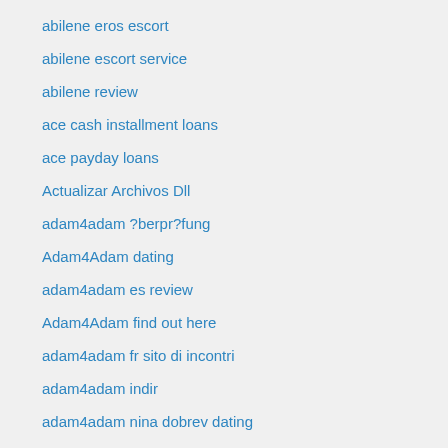abilene eros escort
abilene escort service
abilene review
ace cash installment loans
ace payday loans
Actualizar Archivos Dll
adam4adam ?berpr?fung
Adam4Adam dating
adam4adam es review
Adam4Adam find out here
adam4adam fr sito di incontri
adam4adam indir
adam4adam nina dobrev dating
adam4adam pl Zapisz si?